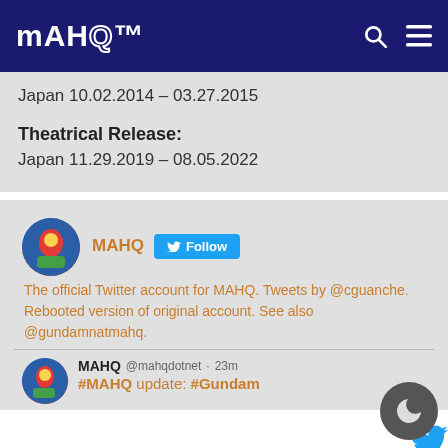MAHQ
Japan 10.02.2014 – 03.27.2015
Theatrical Release:
Japan 11.29.2019 – 08.05.2022
[Figure (screenshot): MAHQ Twitter widget showing account name, Follow button, bio text, and a tweet from @mahqdotnet mentioning #MAHQ update: #Gundam]
MAHQ The official Twitter account for MAHQ. Tweets by @cguanche. Rebooted version of original account. See also @gundamnatmahq.
MAHQ @mahqdotnet · 23m #MAHQ update: #Gundam